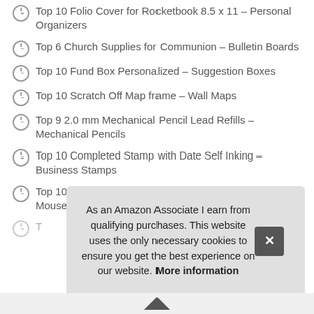Top 10 Folio Cover for Rocketbook 8.5 x 11 – Personal Organizers
Top 6 Church Supplies for Communion – Bulletin Boards
Top 10 Fund Box Personalized – Suggestion Boxes
Top 10 Scratch Off Map frame – Wall Maps
Top 9 2.0 mm Mechanical Pencil Lead Refills – Mechanical Pencils
Top 10 Completed Stamp with Date Self Inking – Business Stamps
Top 10 6 Mouse pad Bundle Stitched Edges Premium – Mouse Pads
T…
As an Amazon Associate I earn from qualifying purchases. This website uses the only necessary cookies to ensure you get the best experience on our website. More information